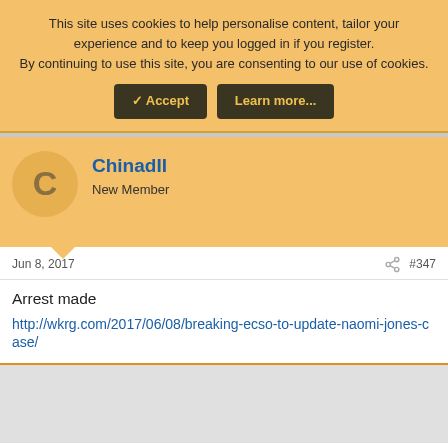This site uses cookies to help personalise content, tailor your experience and to keep you logged in if you register. By continuing to use this site, you are consenting to our use of cookies.
Accept | Learn more...
ChinadII
New Member
Jun 8, 2017  #347
Arrest made
http://wkrg.com/2017/06/08/breaking-ecso-to-update-naomi-jones-case/